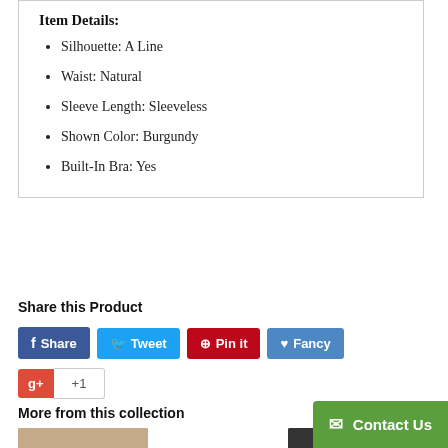Item Details:
Silhouette: A Line
Waist: Natural
Sleeve Length: Sleeveless
Shown Color: Burgundy
Built-In Bra: Yes
Share this Product
Share | Tweet | Pin it | Fancy | g+ +1
More from this collection
[Figure (photo): Product thumbnail images at bottom of page]
Contact Us